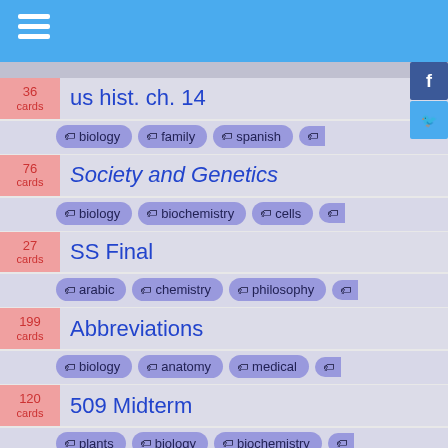36 cards — us hist. ch. 14 — tags: biology, family, spanish
76 cards — Society and Genetics — tags: biology, biochemistry, cells
27 cards — SS Final — tags: arabic, chemistry, philosophy
199 cards — Abbreviations — tags: biology, anatomy, medical
120 cards — 509 Midterm — tags: plants, biology, biochemistry
81 cards — Drama 2 — tags: biology, french, spanish
44 cards — army study guide irvine